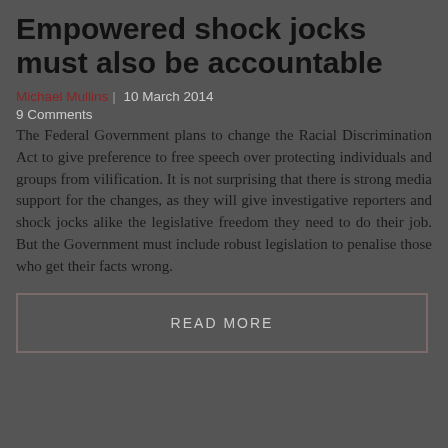Empowered shock jocks must also be accountable
Michael Mullins | 10 March 2014
9 Comments
The Federal Government plans to change the Racial Discrimination Act to give preference to free speech over protecting individuals and groups from vilification. It is not surprising that there is strong media support for the changes, as they will give investigative reporters and shock jocks alike the legislative freedom they need to do their job. But the Government must include robust legislation to penalise those who get their facts wrong.
READ MORE